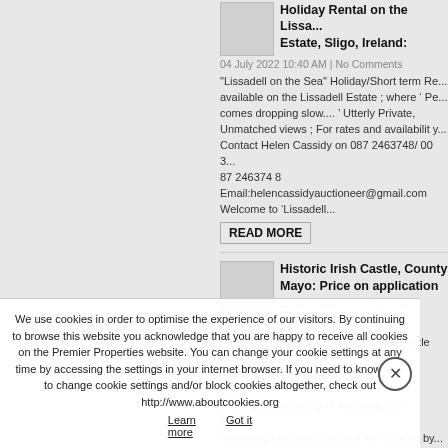Holiday Rental on the Lissadell Estate, Sligo, Ireland:
04 July 2022 10:40 AM | No Comments
"Lissadell on the Sea" Holiday/Short term Re... available on the Lissadell Estate ; where ‘ Pe... comes dropping slow.... ’ Utterly Private, Unmatched views ; For rates and availability... Contact Helen Cassidy on 087 2463748/ 00 3... 87 246374 8 Email:helencassidyauctioneer@gmail.com Welcome to ‘Lissadell...
READ MORE
Historic Irish Castle, County Mayo: Price on application
25 June 2022 10:57 AM | No Comments
For Sale, Unique, Historic, Medieval Castle n... Kilmaine in County Mayo. Ber: Exempt. Situa... in the ancient barony of Kilmaine, this beauti... renovated Medieval Castle is surrounded by...
We use cookies in order to optimise the experience of our visitors. By continuing to browse this website you acknowledge that you are happy to receive all cookies on the Premier Properties website. You can change your cookie settings at any time by accessing the settings in your internet browser. If you need to know how to change cookie settings and/or block cookies altogether, check out http://www.aboutcookies.org   Learn more   Got it